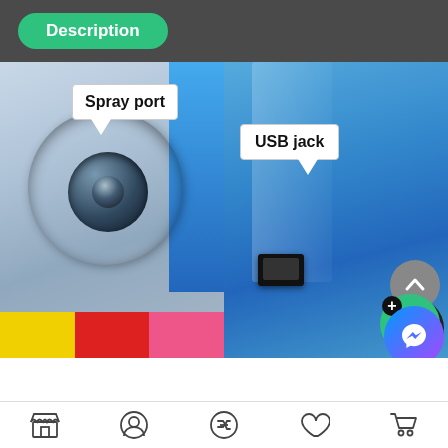Description
[Figure (photo): Close-up photo of a spray port on a blue device, with a speech bubble callout labeled 'Spray port']
[Figure (photo): Photo of a blue device showing a USB jack port, with a speech bubble callout labeled 'USB jack']
Navigation bar with store, profile, shuffle, heart/wishlist, and cart icons